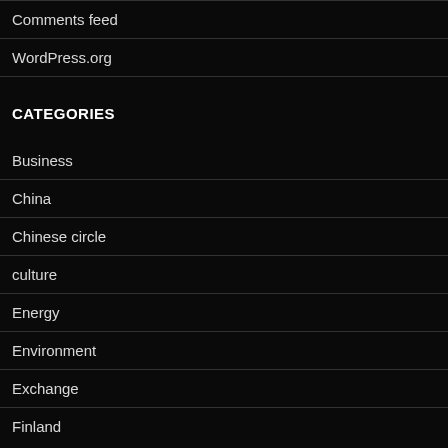Comments feed
WordPress.org
CATEGORIES
Business
China
Chinese circle
culture
Energy
Environment
Exchange
Finland